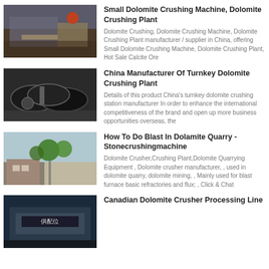[Figure (photo): Worker in industrial facility with machinery]
Small Dolomite Crushing Machine, Dolomite Crushing Plant
Dolomite Crushing, Dolomite Crushing Machine, Dolomite Crushing Plant manufacturer / supplier in China, offering Small Dolomite Crushing Machine, Dolomite Crushing Plant, Hot Sale Calcite Ore
[Figure (photo): Large black industrial rollers or cylinders in a factory]
China Manufacturer Of Turnkey Dolomite Crushing Plant
Details of this product China's turnkey dolomite crushing station manufacturer In order to enhance the international competitiveness of the brand and open up more business opportunities overseas, the
[Figure (photo): Road with trees and a building, outdoor industrial site]
How To Do Blast In Dolamite Quarry - Stonecrushingmachine
Dolomite Crusher,Crushing Plant,Dolomite Quarrying Equipment , Dolomite crusher manufacturer, , used in dolomite quarry, dolomite mining, , Mainly used for blast furnace basic refractories and flux; , Click & Chat
[Figure (photo): Entrance or building with Chinese signage]
Canadian Dolomite Crusher Processing Line